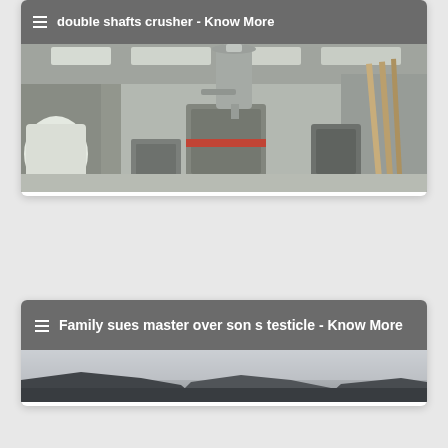double shafts crusher - Know More
[Figure (photo): Industrial facility interior showing a large grinding mill or crusher machine with cyclone separator and dust collection system, metal walls and roof with skylights, bags of material on the left side.]
Family sues master over son s testicle - Know More
[Figure (photo): Outdoor landscape photo showing dark rocky terrain or earth mounds against a hazy grey sky.]